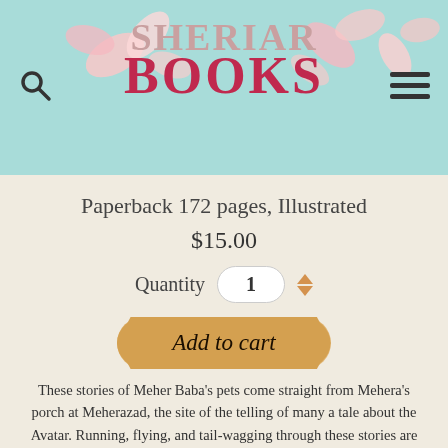[Figure (logo): Sheriar Books logo on teal background with pink flower petals, search icon on left, hamburger menu on right]
Paperback 172 pages, Illustrated
$15.00
Quantity  1
Add to cart
These stories of Meher Baba's pets come straight from Mehera's porch at Meherazad, the site of the telling of many a tale about the Avatar. Running, flying, and tail-wagging through these stories are the likes of Sheeba and Mastan, Lucky and Jumpu, Mittu and Foundy, Peter and Begum, and many more, all beloved of the Avatar.